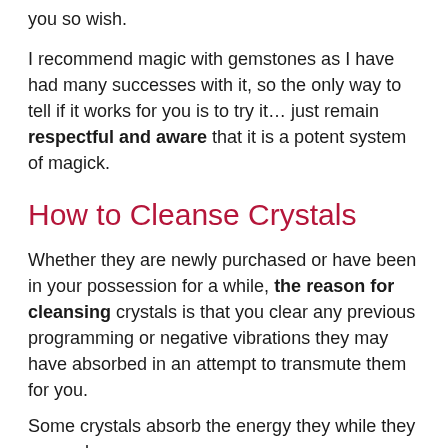you so wish.
I recommend magic with gemstones as I have had many successes with it, so the only way to tell if it works for you is to try it… just remain respectful and aware that it is a potent system of magick.
How to Cleanse Crystals
Whether they are newly purchased or have been in your possession for a while, the reason for cleansing crystals is that you clear any previous programming or negative vibrations they may have absorbed in an attempt to transmute them for you.
Some crystals absorb the energy they while they are and...